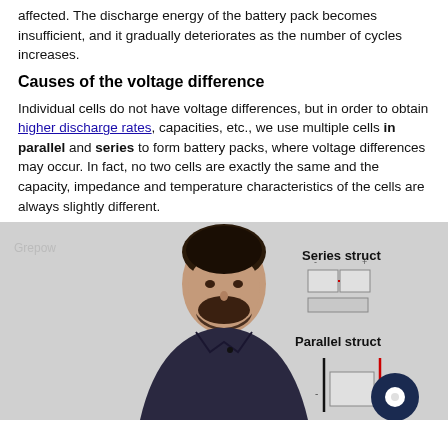affected. The discharge energy of the battery pack becomes insufficient, and it gradually deteriorates as the number of cycles increases.
Causes of the voltage difference
Individual cells do not have voltage differences, but in order to obtain higher discharge rates, capacities, etc., we use multiple cells in parallel and series to form battery packs, where voltage differences may occur. In fact, no two cells are exactly the same and the capacity, impedance and temperature characteristics of the cells are always slightly different.
[Figure (photo): Video screenshot showing a man presenting, with 'Grepow' watermark in top-left, and diagrams on the right labeled 'Series struct' and 'Parallel struct' showing battery cell configurations.]